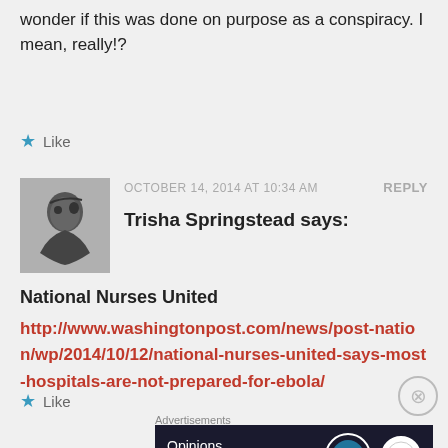wonder if this was done on purpose as a conspiracy. I mean, really!?
★ Like
OCTOBER 14, 2014 AT 10:34 AM
REPLY
[Figure (photo): Black and white profile photo of Trisha Springstead, a woman facing left]
Trisha Springstead says:
National Nurses United
http://www.washingtonpost.com/news/post-nation/wp/2014/10/12/national-nurses-united-says-most-hospitals-are-not-prepared-for-ebola/
★ Like
Advertisements
[Figure (screenshot): Dark navy advertisement banner reading 'Opinions. We all have them!' with WordPress logo and Daily Post logo]